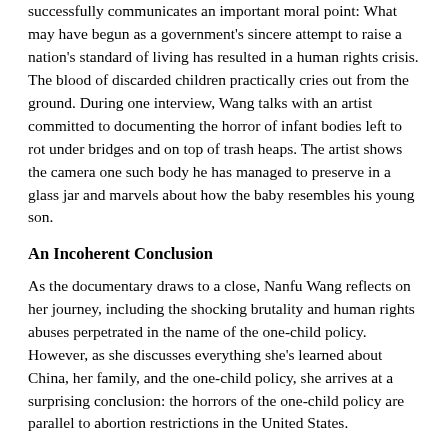successfully communicates an important moral point: What may have begun as a government's sincere attempt to raise a nation's standard of living has resulted in a human rights crisis. The blood of discarded children practically cries out from the ground. During one interview, Wang talks with an artist committed to documenting the horror of infant bodies left to rot under bridges and on top of trash heaps. The artist shows the camera one such body he has managed to preserve in a glass jar and marvels about how the baby resembles his young son.
An Incoherent Conclusion
As the documentary draws to a close, Nanfu Wang reflects on her journey, including the shocking brutality and human rights abuses perpetrated in the name of the one-child policy. However, as she discusses everything she's learned about China, her family, and the one-child policy, she arrives at a surprising conclusion: the horrors of the one-child policy are parallel to abortion restrictions in the United States.
Despite over an hour carefully describing the horrors of forced abortions, sterilizations, and the horror associated with the one-child policy...